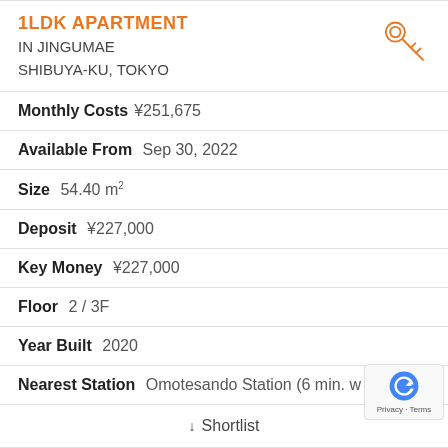1LDK APARTMENT IN JINGUMAE SHIBUYA-KU, TOKYO
Monthly Costs ¥251,675
Available From Sep 30, 2022
Size 54.40 m²
Deposit ¥227,000
Key Money ¥227,000
Floor 2 / 3F
Year Built 2020
Nearest Station Omotesando Station (6 min. w
↓ Shortlist